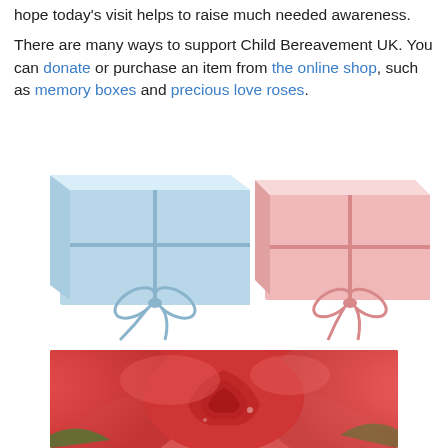hope today's visit helps to raise much needed awareness. There are many ways to support Child Bereavement UK. You can donate or purchase an item from the online shop, such as memory boxes and precious love roses.
[Figure (photo): Two gift boxes with ribbon bows: a light blue box on the left and a light pink box on the right, both on a white background - memory boxes from Child Bereavement UK]
[Figure (photo): Close-up photograph of a vibrant red rose in full bloom, representing precious love roses from Child Bereavement UK]